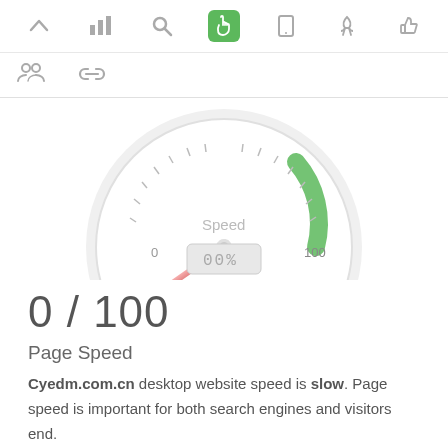[Figure (screenshot): Top navigation bar with icons: up arrow, bar chart, search, hand/cursor (active, green background), mobile, rocket, thumbs up]
[Figure (screenshot): Second navigation row with people icon and chain/link icon]
[Figure (other): Speed gauge/speedometer showing 0 out of 100, with red needle pointing left and green arc on right side. Digital display showing 00%. Label 'Speed' and '100' visible.]
0 / 100
Page Speed
Cyedm.com.cn desktop website speed is slow. Page speed is important for both search engines and visitors end.